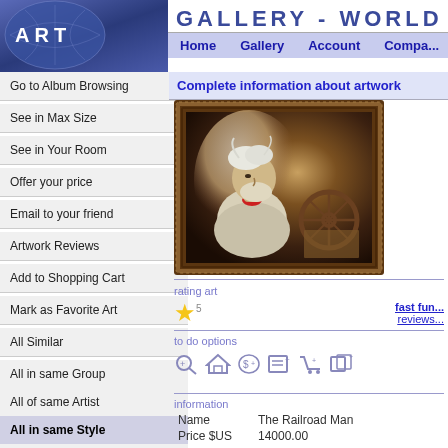ART | GALLERY - WORLD | Home | Gallery | Account | Compa...
Go to Album Browsing
See in Max Size
See in Your Room
Offer your price
Email to your friend
Artwork Reviews
Add to Shopping Cart
Mark as Favorite Art
All Similar
All in same Group
All of same Artist
All in same Style
All in same Theme
All in same Media
Customer
Complete information about artwork
[Figure (photo): Oil painting in an ornate dark wood frame depicting an elderly man with white hair and beard wearing a white shirt with a red neckerchief, with a wagon wheel visible in the background]
rating art
fast fun... reviews...
to do options
information
|  |  |
| --- | --- |
| Name | The Railroad Man |
| Price $US | 14000.00 |